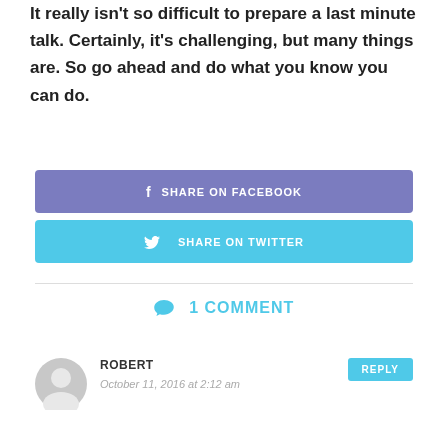It really isn't so difficult to prepare a last minute talk. Certainly, it's challenging, but many things are. So go ahead and do what you know you can do.
[Figure (other): Share on Facebook button (purple/blue rounded rectangle with Facebook f icon)]
[Figure (other): Share on Twitter button (cyan rounded rectangle with Twitter bird icon)]
1 COMMENT
ROBERT
October 11, 2016 at 2:12 am